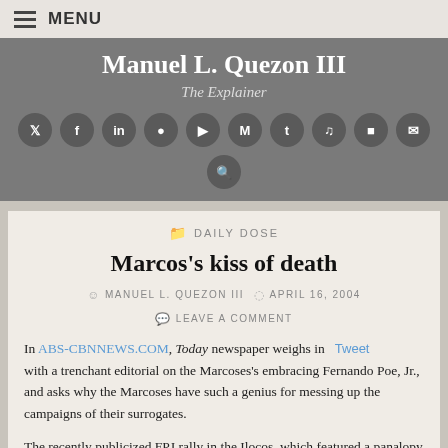MENU
Manuel L. Quezon III
The Explainer
DAILY DOSE
Marcos's kiss of death
MANUEL L. QUEZON III   APRIL 16, 2004   LEAVE A COMMENT
In ABS-CBNNEWS.COM, Today newspaper weighs in Tweet with a trenchant editorial on the Marcoses's embracing Fernando Poe, Jr., and asks why the Marcoses have such a genius for messing up the campaigns of their surrogates.
The recently publicized FPJ rally in the Ilocos, which featured a panalopy of Marcoses sharing the stage with FPJ (and which resulted in FPJ's paying homage to Marcos's waxen remains and Enrile apologizing to the Ilocanos for